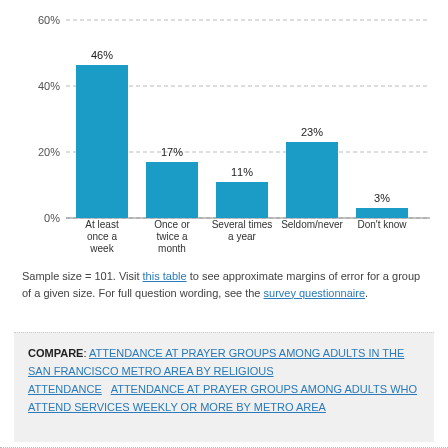[Figure (bar-chart): ]
Sample size = 101. Visit this table to see approximate margins of error for a group of a given size. For full question wording, see the survey questionnaire.
COMPARE:  ATTENDANCE AT PRAYER GROUPS AMONG ADULTS IN THE SAN FRANCISCO METRO AREA BY RELIGIOUS ATTENDANCE   ATTENDANCE AT PRAYER GROUPS AMONG ADULTS WHO ATTEND SERVICES WEEKLY OR MORE BY METRO AREA